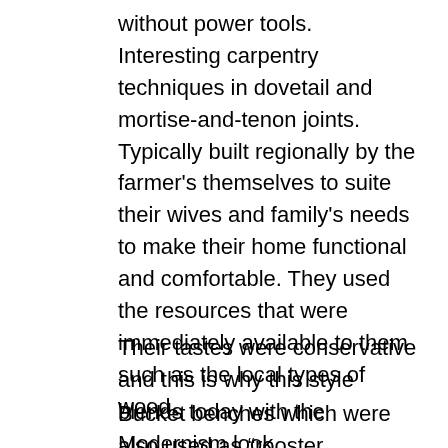without power tools. Interesting carpentry techniques in dovetail and mortise-and-tenon joints. Typically built regionally by the farmer's themselves to suite their wives and family's needs to make their home functional and comfortable. They used the resources that were immediately available to them such as the local types of wood.
Their tastes were conservative and this is why this style blends today with the Modernism look.
Bucket benches which were also used as “rooster